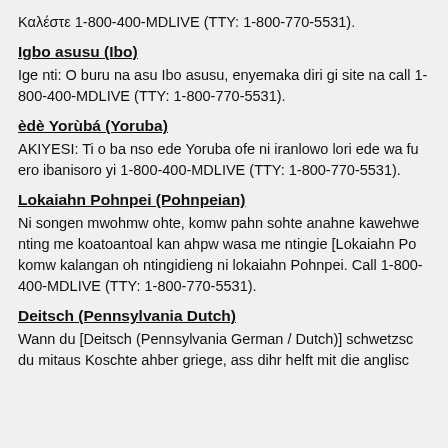Καλέστε 1-800-400-MDLIVE (TTY: 1-800-770-5531).
Igbo asusu (Ibo)
Ige nti: O buru na asu Ibo asusu, enyemaka diri gi site na call 1-800-400-MDLIVE (TTY: 1-800-770-5531).
èdè Yorùbá (Yoruba)
AKIYESI: Ti o ba nso ede Yoruba ofe ni iranlowo lori ede wa fu ero ibanisoro yi 1-800-400-MDLIVE (TTY: 1-800-770-5531).
Lokaiahn Pohnpei (Pohnpeian)
Ni songen mwohmw ohte, komw pahn sohte anahne kawehwe nting me koatoantoal kan ahpw wasa me ntingie [Lokaiahn Po komw kalangan oh ntingidieng ni lokaiahn Pohnpei. Call 1-800-400-MDLIVE (TTY: 1-800-770-5531).
Deitsch (Pennsylvania Dutch)
Wann du [Deitsch (Pennsylvania German / Dutch)] schwetzsc du mitaus Koschte ahber griege, ass dihr helft mit die anglisc